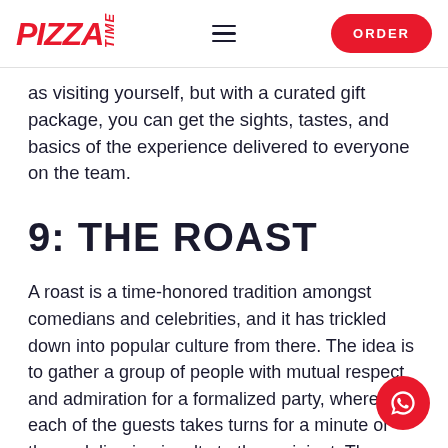PIZZA TIME — ORDER
as visiting yourself, but with a curated gift package, you can get the sights, tastes, and basics of the experience delivered to everyone on the team.
9: THE ROAST
A roast is a time-honored tradition amongst comedians and celebrities, and it has trickled down into popular culture from there. The idea is to gather a group of people with mutual respect and admiration for a formalized party, where each of the guests takes turns for a minute or three, delivering insults to the recipient. The insults, of course, are over-the-top extreme but still light-hearted. They stay away from reality and avoid topics like bigotry or real accusations